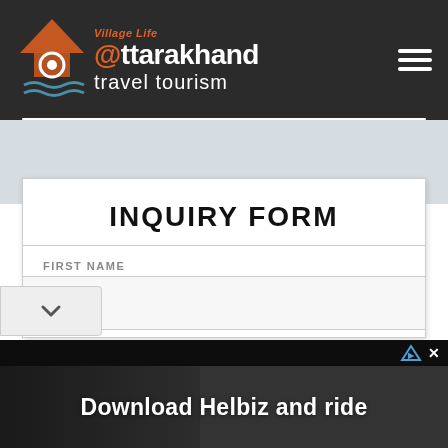Village Life — Uttarakhand Travel Tourism
INQUIRY FORM
FIRST NAME
LAST NAME
Download Helbiz and ride